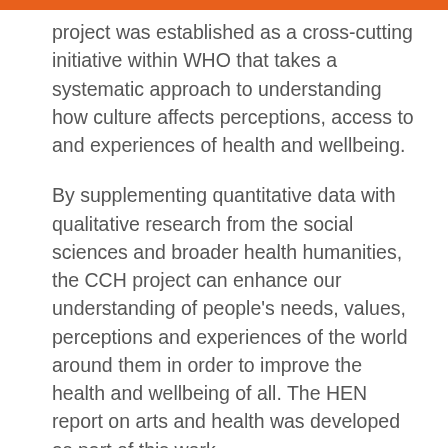project was established as a cross-cutting initiative within WHO that takes a systematic approach to understanding how culture affects perceptions, access to and experiences of health and wellbeing.
By supplementing quantitative data with qualitative research from the social sciences and broader health humanities, the CCH project can enhance our understanding of people's needs, values, perceptions and experiences of the world around them in order to improve the health and wellbeing of all. The HEN report on arts and health was developed as part of this work.
The evidence synthesized in the report will be used to provide suggestions for integrating the arts, social care and health sectors to support health and wellbeing throughout the life course and across the continuum of care.